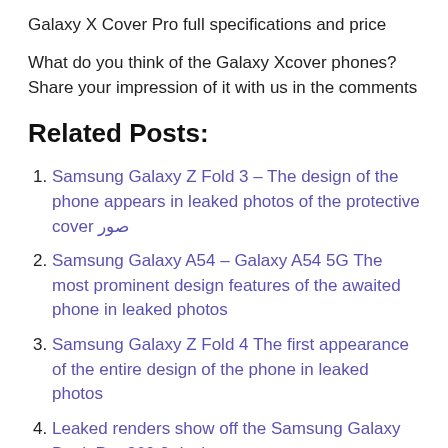Galaxy X Cover Pro full specifications and price
What do you think of the Galaxy Xcover phones? Share your impression of it with us in the comments
Related Posts:
Samsung Galaxy Z Fold 3 – The design of the phone appears in leaked photos of the protective cover صور
Samsung Galaxy A54 – Galaxy A54 5G The most prominent design features of the awaited phone in leaked photos
Samsung Galaxy Z Fold 4 The first appearance of the entire design of the phone in leaked photos
Leaked renders show off the Samsung Galaxy Book Pro 360 2 design